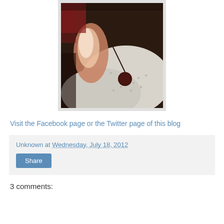[Figure (photo): A child's hand holding what appears to be a cherry by its stem, resting on white eyelet fabric, photographed in dim lighting with backlight on the hand.]
Visit the Facebook page or the Twitter page of this blog
Unknown at Wednesday, July 18, 2012
Share
3 comments: